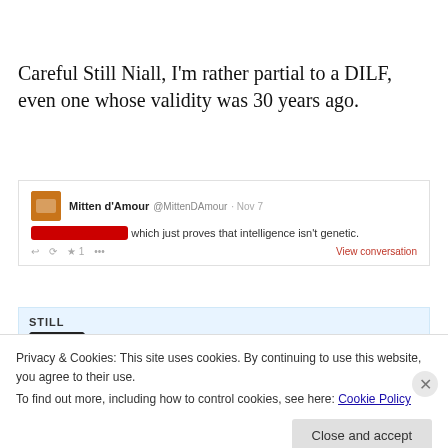Careful Still Niall, I'm rather partial to a DILF, even one whose validity was 30 years ago.
[Figure (screenshot): Screenshot of a tweet by Mitten d'Amour (@MittenDAmour) from Nov 7, with a redacted @mention: '[redacted] which just proves that intelligence isn't genetic.' Shows 1 like and a 'View conversation' link.]
[Figure (screenshot): Partial screenshot of a tweet by Still Niall (@[redacted]) posted 2m ago, showing '@MittenDAmour randy frustrated' — partially cut off by cookie banner.]
Privacy & Cookies: This site uses cookies. By continuing to use this website, you agree to their use.
To find out more, including how to control cookies, see here: Cookie Policy
Close and accept